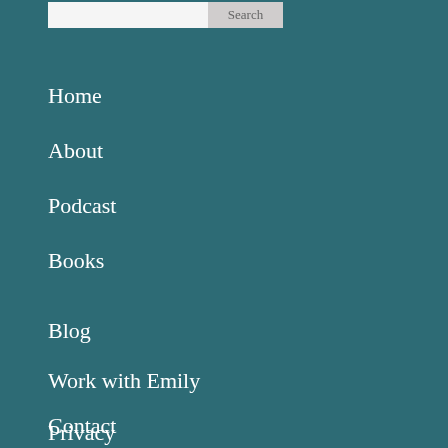[Figure (screenshot): Search bar with text input field and Search button]
Home
About
Podcast
Books
Blog
Work with Emily
Contact
Privacy